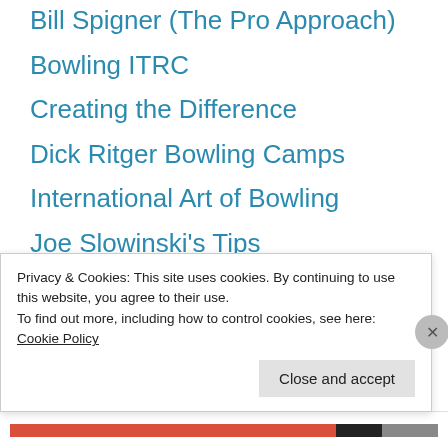Bill Spigner (The Pro Approach)
Bowling ITRC
Creating the Difference
Dick Ritger Bowling Camps
International Art of Bowling
Joe Slowinski's Tips
Kegel Training Center
Mark Baker camps & clinics
Mike Shady's Peak Performance Bowling
Privacy & Cookies: This site uses cookies. By continuing to use this website, you agree to their use.
To find out more, including how to control cookies, see here:
Cookie Policy
Close and accept